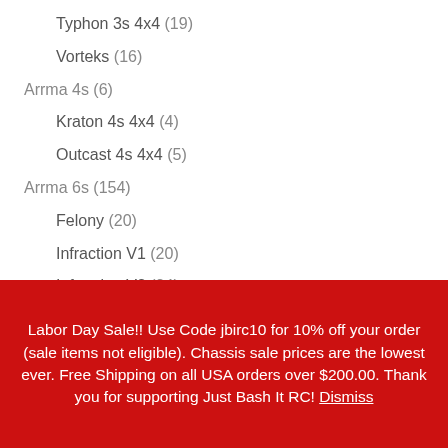Typhon 3s 4x4 (19)
Vorteks (16)
Arrma 4s (6)
Kraton 4s 4x4 (4)
Outcast 4s 4x4 (5)
Arrma 6s (154)
Felony (20)
Infraction V1 (20)
Infraction V2 (24)
Kraton EXB (30)
Labor Day Sale!! Use Code jbirc10 for 10% off your order (sale items not eligible). Chassis sale prices are the lowest ever. Free Shipping on all USA orders over $200.00. Thank you for supporting Just Bash It RC! Dismiss